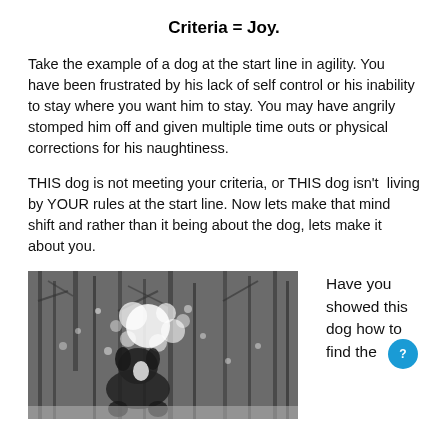Criteria = Joy.
Take the example of a dog at the start line in agility. You have been frustrated by his lack of self control or his inability to stay where you want him to stay. You may have angrily stomped him off and given multiple time outs or physical corrections for his naughtiness.
THIS dog is not meeting your criteria, or THIS dog isn't living by YOUR rules at the start line. Now lets make that mind shift and rather than it being about the dog, lets make it about you.
[Figure (photo): A black and white dog playing in snow among bare winter trees, with snow spray around it]
Have you showed this dog how to find the